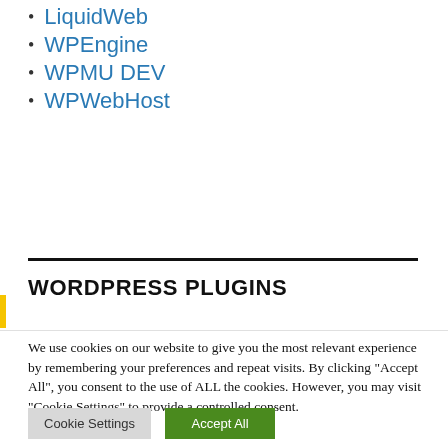LiquidWeb
WPEngine
WPMU DEV
WPWebHost
WORDPRESS PLUGINS
We use cookies on our website to give you the most relevant experience by remembering your preferences and repeat visits. By clicking "Accept All", you consent to the use of ALL the cookies. However, you may visit "Cookie Settings" to provide a controlled consent.
Cookie Settings | Accept All